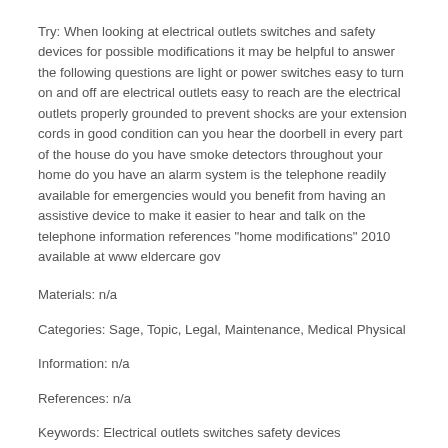Try: When looking at electrical outlets switches and safety devices for possible modifications it may be helpful to answer the following questions are light or power switches easy to turn on and off are electrical outlets easy to reach are the electrical outlets properly grounded to prevent shocks are your extension cords in good condition can you hear the doorbell in every part of the house do you have smoke detectors throughout your home do you have an alarm system is the telephone readily available for emergencies would you benefit from having an assistive device to make it easier to hear and talk on the telephone information references "home modifications" 2010 available at www eldercare gov
Materials: n/a
Categories: Sage, Topic, Legal, Maintenance, Medical Physical
Information: n/a
References: n/a
Keywords: Electrical outlets switches safety devices independence